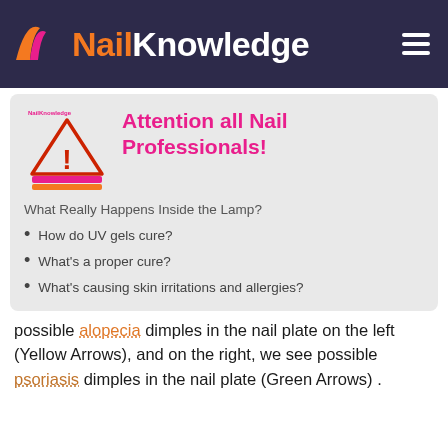NailKnowledge
[Figure (illustration): NailKnowledge logo card with warning triangle and nail art imagery, showing Attention all Nail Professionals! heading]
What Really Happens Inside the Lamp?
How do UV gels cure?
What’s a proper cure?
What’s causing skin irritations and allergies?
possible alopecia dimples in the nail plate on the left (Yellow Arrows), and on the right, we see possible psoriasis dimples in the nail plate (Green Arrows) .